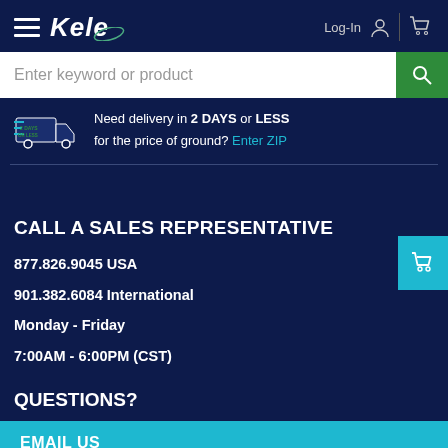Kele — Log-In
Enter keyword or product
Need delivery in 2 DAYS or LESS for the price of ground? Enter ZIP
CALL A SALES REPRESENTATIVE
877.826.9045 USA
901.382.6084 International
Monday - Friday
7:00AM - 6:00PM (CST)
QUESTIONS?
EMAIL US